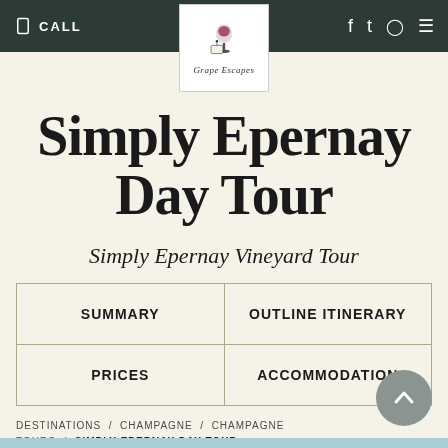CALL | [social icons]
[Figure (logo): Grape Escapes logo with wine glass and label graphic]
Simply Epernay Day Tour
Simply Epernay Vineyard Tour
| SUMMARY | OUTLINE ITINERARY |
| PRICES | ACCOMMODATION |
DESTINATIONS / CHAMPAGNE / CHAMPAGNE TOURS / SIMPLY EPERNAY DAY TOUR